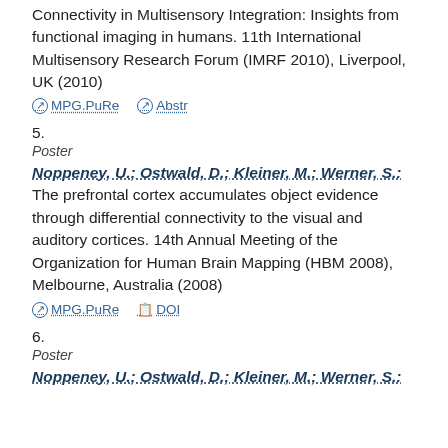Connectivity in Multisensory Integration: Insights from functional imaging in humans. 11th International Multisensory Research Forum (IMRF 2010), Liverpool, UK (2010)
MPG.PuRe   Abstr
5.
Poster
Noppeney, U.; Ostwald, D.; Kleiner, M.; Werner, S.: The prefrontal cortex accumulates object evidence through differential connectivity to the visual and auditory cortices. 14th Annual Meeting of the Organization for Human Brain Mapping (HBM 2008), Melbourne, Australia (2008)
MPG.PuRe   DOI
6.
Poster
Noppeney, U.; Ostwald, D.; Kleiner, M.; Werner, S.: